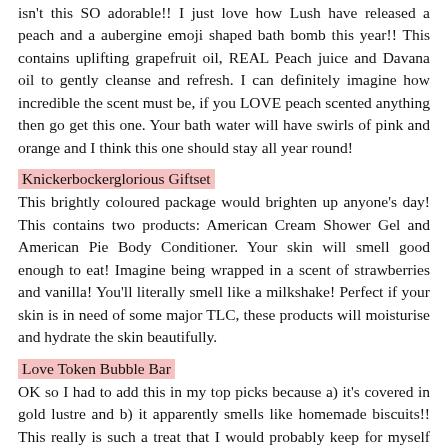isn't this SO adorable!! I just love how Lush have released a peach and a aubergine emoji shaped bath bomb this year!! This contains uplifting grapefruit oil, REAL Peach juice and Davana oil to gently cleanse and refresh. I can definitely imagine how incredible the scent must be, if you LOVE peach scented anything then go get this one. Your bath water will have swirls of pink and orange and I think this one should stay all year round!
Knickerbockerglorious Giftset
This brightly coloured package would brighten up anyone's day! This contains two products: American Cream Shower Gel and American Pie Body Conditioner. Your skin will smell good enough to eat! Imagine being wrapped in a scent of strawberries and vanilla! You'll literally smell like a milkshake! Perfect if your skin is in need of some major TLC, these products will moisturise and hydrate the skin beautifully.
Love Token Bubble Bar
OK so I had to add this in my top picks because a) it's covered in gold lustre and b) it apparently smells like homemade biscuits!! This really is such a treat that I would probably keep for myself since I am so into bakery style scents. A very comforting scent for the winter months, can this not stay in the permanent line?!? The